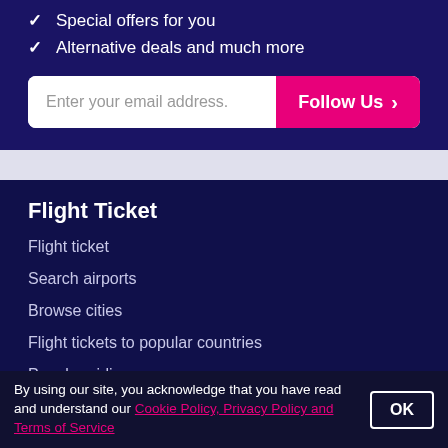Special offers for you
Alternative deals and much more
Enter your email address.
Follow Us >
Flight Ticket
Flight ticket
Search airports
Browse cities
Flight tickets to popular countries
Popular airlines
Popular Flights
By using our site, you acknowledge that you have read and understand our Cookie Policy, Privacy Policy and Terms of Service